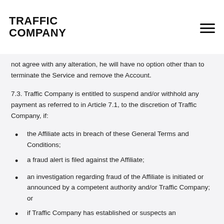TRAFFIC COMPANY
not agree with any alteration, he will have no option other than to terminate the Service and remove the Account.
7.3. Traffic Company is entitled to suspend and/or withhold any payment as referred to in Article 7.1, to the discretion of Traffic Company, if:
the Affiliate acts in breach of these General Terms and Conditions;
a fraud alert is filed against the Affiliate;
an investigation regarding fraud of the Affiliate is initiated or announced by a competent authority and/or Traffic Company; or
if Traffic Company has established or suspects an